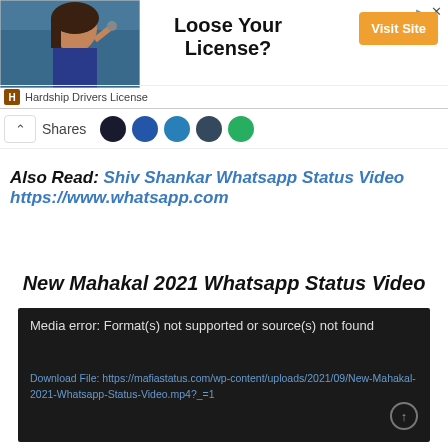[Figure (other): Advertisement banner: woman in car holding keys, headline 'Loose Your License?', orange 'Visit Site' button, brand 'Hardship Drivers License']
Shares
Also Read: Shiv Shankar Whatsapp Status Video https://www.whatsapp.com
New Mahakal 2021 Whatsapp Status Video
[Figure (screenshot): Video player showing media error: 'Media error: Format(s) not supported or source(s) not found' with download link to New-Mahakal-2021-Whatsapp-Status-Video.mp4]